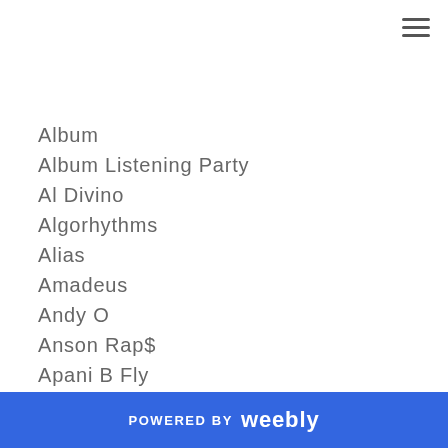Album
Album Listening Party
Al Divino
Algorhythms
Alias
Amadeus
Andy O
Anson Rap$
Apani B Fly
Aperiod
Apob
Apollo Knox
Arichusetts
Art
POWERED BY weebly